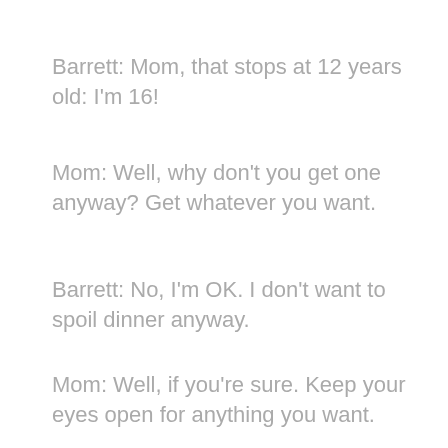Barrett: Mom, that stops at 12 years old: I'm 16!
Mom: Well, why don't you get one anyway? Get whatever you want.
Barrett: No, I'm OK. I don't want to spoil dinner anyway.
Mom: Well, if you're sure. Keep your eyes open for anything you want.